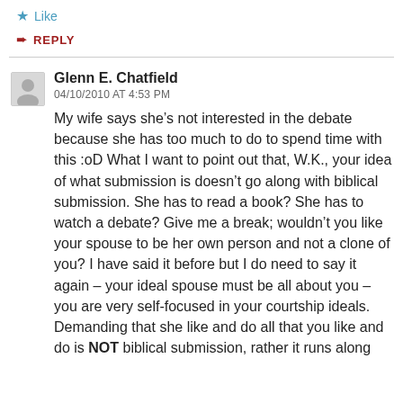Like
REPLY
Glenn E. Chatfield
04/10/2010 AT 4:53 PM
My wife says she’s not interested in the debate because she has too much to do to spend time with this :oD What I want to point out that, W.K., your idea of what submission is doesn’t go along with biblical submission. She has to read a book? She has to watch a debate? Give me a break; wouldn’t you like your spouse to be her own person and not a clone of you? I have said it before but I do need to say it again – your ideal spouse must be all about you – you are very self-focused in your courtship ideals.
Demanding that she like and do all that you like and do is NOT biblical submission, rather it runs along